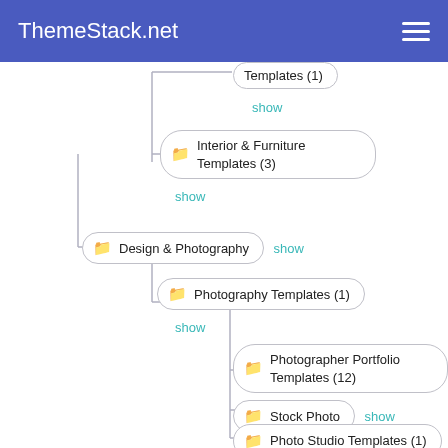ThemeStack.net
[Figure (flowchart): Website navigation tree showing hierarchical categories: Templates (1), Interior & Furniture Templates (3), Design & Photography (with show link), Photography Templates (1), Photographer Portfolio Templates (12), Stock Photo (with show link), Photo Studio Templates (1). Each node shown as rounded rectangle with folder icon. 'show' links appear in teal. Tree connected by vertical and horizontal lines.]